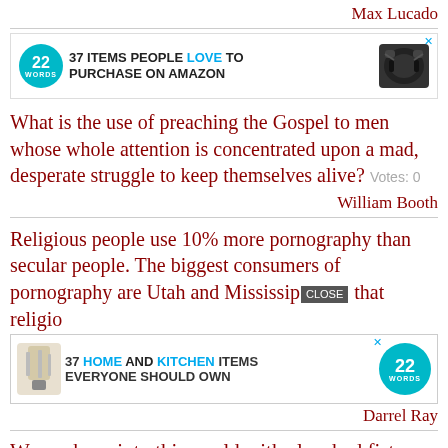Max Lucado
[Figure (infographic): Advertisement banner: 22 Words logo circle, '37 ITEMS PEOPLE LOVE TO PURCHASE ON AMAZON' with headphones image and X close button]
What is the use of preaching the Gospel to men whose whole attention is concentrated upon a mad, desperate struggle to keep themselves alive?  Votes: 0
William Booth
Religious people use 10% more pornography than secular people. The biggest consumers of pornography are Utah and Mississippi, that religious...
[Figure (infographic): Advertisement banner: knife set image, '37 HOME AND KITCHEN ITEMS EVERYONE SHOULD OWN' with 22 Words circle logo and CLOSE button overlay]
Darrel Ray
We are born into this world with clenched fists